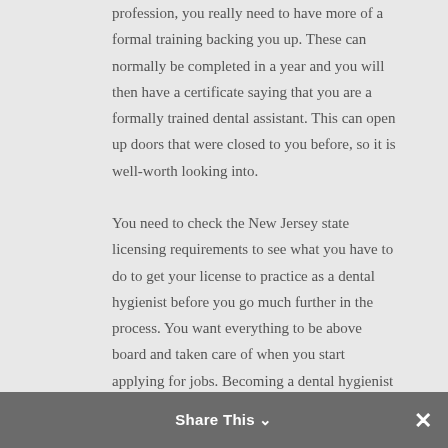profession, you really need to have more of a formal training backing you up. These can normally be completed in a year and you will then have a certificate saying that you are a formally trained dental assistant. This can open up doors that were closed to you before, so it is well-worth looking into.

You need to check the New Jersey state licensing requirements to see what you have to do to get your license to practice as a dental hygienist before you go much further in the process. You want everything to be above board and taken care of when you start applying for jobs. Becoming a dental hygienist is a lucrative and rewarding occupation. Do your research and pick the best option for becoming a dental hygienist for you.
Share This ∨